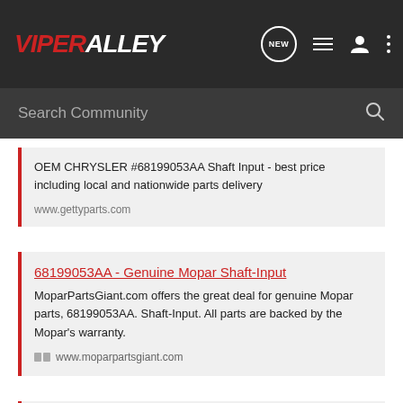ViperAlley — Search Community
OEM CHRYSLER #68199053AA Shaft Input - best price including local and nationwide parts delivery
www.gettyparts.com
68199053AA - Genuine Mopar Shaft-Input
MoparPartsGiant.com offers the great deal for genuine Mopar parts, 68199053AA. Shaft-Input. All parts are backed by the Mopar's warranty.
www.moparpartsgiant.com
Shaft 68199053AA | Mopar Delivers
Shaft 68199053AA